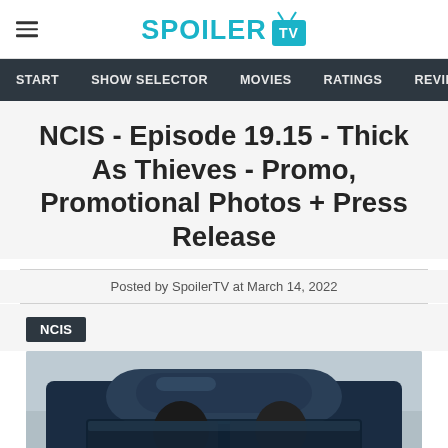SPOILER TV
START | SHOW SELECTOR | MOVIES | RATINGS | REVIEWS | POL
NCIS - Episode 19.15 - Thick As Thieves - Promo, Promotional Photos + Press Release
Posted by SpoilerTV at March 14, 2022
NCIS
[Figure (photo): Promotional photo showing people in a dark blue vehicle, viewed from above/outside the car roof]